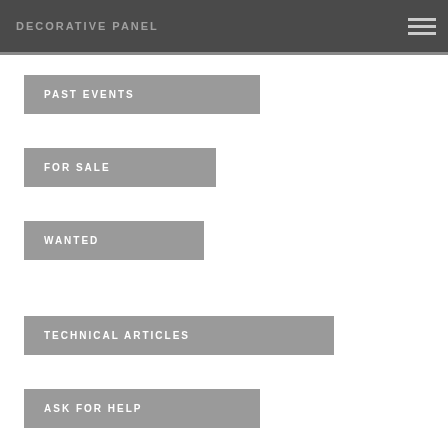DECORATIVE PANEL
PAST EVENTS
FOR SALE
WANTED
TECHNICAL ARTICLES
ASK FOR HELP
Archives